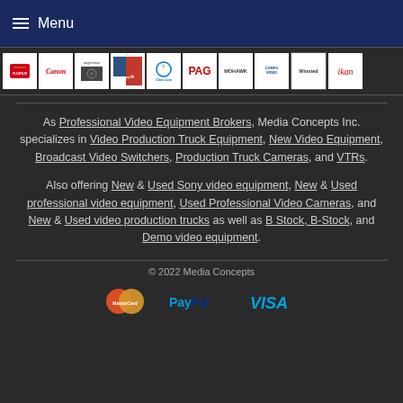Menu
[Figure (logo): Row of brand logos: Fujifilm, Canon, Angenieux, JonyJib, Clear-Com, PAG, Mohawk, CompuVideo, Winsted, ikan]
As Professional Video Equipment Brokers, Media Concepts Inc. specializes in Video Production Truck Equipment, New Video Equipment, Broadcast Video Switchers, Production Truck Cameras, and VTRs.
Also offering New & Used Sony video equipment, New & Used professional video equipment, Used Professional Video Cameras, and New & Used video production trucks as well as B Stock, B-Stock, and Demo video equipment.
© 2022 Media Concepts
[Figure (logo): Payment method logos: MasterCard, PayPal, Visa]